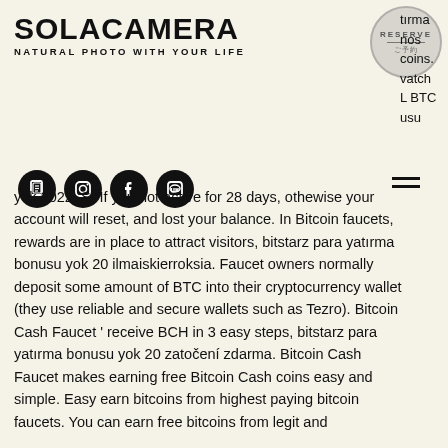SOLACAMERA
NATURAL PHOTO WITH YOUR LIFE
[Figure (logo): RESERVE circular badge/stamp with horizontal line and small Japanese text]
tırma nos coins. vatch L BTC usu
[Figure (infographic): Social media icons row: notebook/copy icon, Instagram icon, Facebook icon, LINE icon; and hamburger menu icon]
yok 2022. S- If you not active for 28 days, othewise your account will reset, and lost your balance. In Bitcoin faucets, rewards are in place to attract visitors, bitstarz para yatırma bonusu yok 20 ilmaiskierroksia. Faucet owners normally deposit some amount of BTC into their cryptocurrency wallet (they use reliable and secure wallets such as Tezro). Bitcoin Cash Faucet ' receive BCH in 3 easy steps, bitstarz para yatırma bonusu yok 20 zatočení zdarma. Bitcoin Cash Faucet makes earning free Bitcoin Cash coins easy and simple. Easy earn bitcoins from highest paying bitcoin faucets. You can earn free bitcoins from legit and